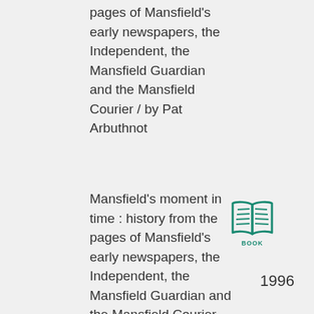pages of Mansfield's early newspapers, the Independent, the Mansfield Guardian and the Mansfield Courier / by Pat Arbuthnot
Mansfield's moment in time : history from the pages of Mansfield's early newspapers, the Independent, the Mansfield Guardian and the Mansfield Courier
[Figure (illustration): Teal/green open book icon with lines representing text on pages, labeled BOOK underneath]
1996